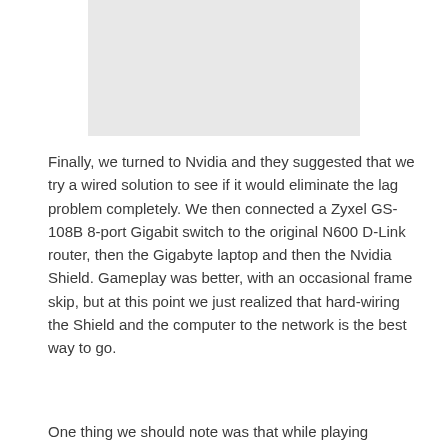[Figure (other): Gray placeholder image block at the top of the page]
Finally, we turned to Nvidia and they suggested that we try a wired solution to see if it would eliminate the lag problem completely. We then connected a Zyxel GS-108B 8-port Gigabit switch to the original N600 D-Link router, then the Gigabyte laptop and then the Nvidia Shield. Gameplay was better, with an occasional frame skip, but at this point we just realized that hard-wiring the Shield and the computer to the network is the best way to go.
One thing we should note was that while playing